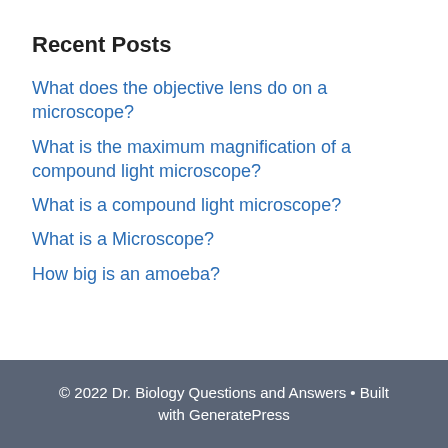Recent Posts
What does the objective lens do on a microscope?
What is the maximum magnification of a compound light microscope?
What is a compound light microscope?
What is a Microscope?
How big is an amoeba?
© 2022 Dr. Biology Questions and Answers • Built with GeneratePress